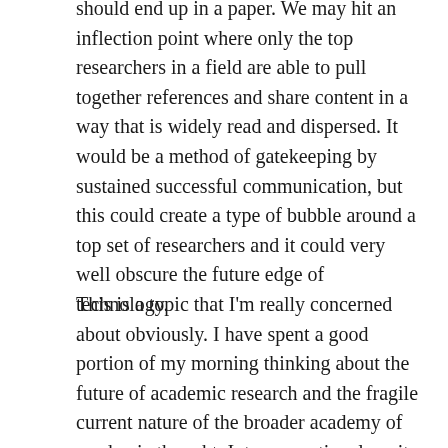should end up in a paper. We may hit an inflection point where only the top researchers in a field are able to pull together references and share content in a way that is widely read and dispersed. It would be a method of gatekeeping by sustained successful communication, but this could create a type of bubble around a top set of researchers and it could very well obscure the future edge of technology.
This is a topic that I'm really concerned about obviously. I have spent a good portion of my morning thinking about the future of academic research and the fragile current nature of the broader academy of academic thought. Intergenerational equity within the academy is about the effective storage and sharing of